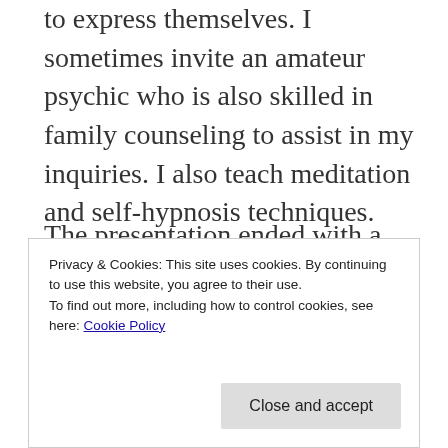to express themselves. I sometimes invite an amateur psychic who is also skilled in family counseling to assist in my inquiries. I also teach meditation and self-hypnosis techniques.
The presentation ended with a discussion around case examples.
The Case Coordinator concluded that...
Privacy & Cookies: This site uses cookies. By continuing to use this website, you agree to their use.
To find out more, including how to control cookies, see here: Cookie Policy
Close and accept